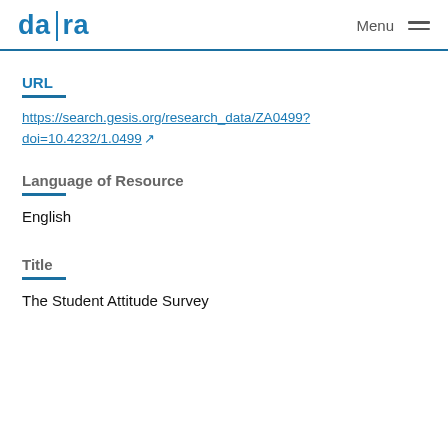da|ra  Menu
URL
https://search.gesis.org/research_data/ZA0499?doi=10.4232/1.0499
Language of Resource
English
Title
The Student Attitude Survey